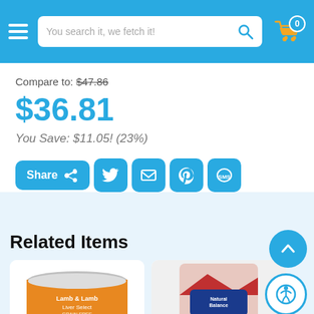[Figure (screenshot): E-commerce website header with hamburger menu, search bar reading 'You search it, we fetch it!', and shopping cart icon with badge showing 0]
Compare to: $47.86
$36.81
You Save: $11.05!  (23%)
[Figure (infographic): Social sharing bar with Share button and icons for Facebook, Twitter, Email, Pinterest, and SMS]
Related Items
[Figure (photo): Canned pet food product - Lamb & Lamb Liver Select by Nutrisca]
[Figure (photo): Natural Balance Ultra dry dog food bag]